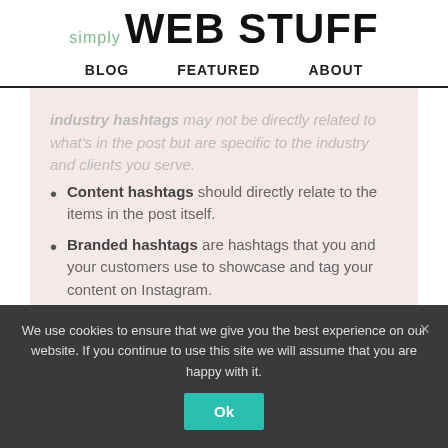simply WEB STUFF
BLOG   FEATURED   ABOUT
...industry hashtags may not be directly related to what's in the post but are specific to the industry and clients you serve.
Content hashtags should directly relate to the items in the post itself.
Branded hashtags are hashtags that you and your customers use to showcase and tag your content on Instagram.
We use cookies to ensure that we give you the best experience on our website. If you continue to use this site we will assume that you are happy with it.